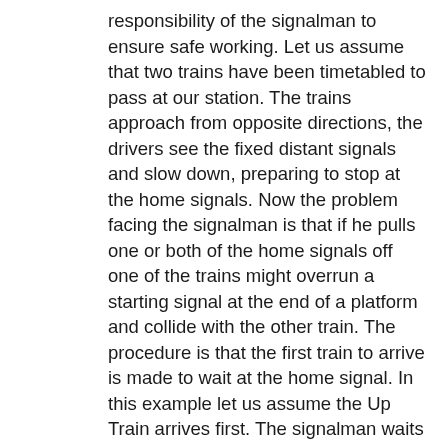responsibility of the signalman to ensure safe working. Let us assume that two trains have been timetabled to pass at our station. The trains approach from opposite directions, the drivers see the fixed distant signals and slow down, preparing to stop at the home signals. Now the problem facing the signalman is that if he pulls one or both of the home signals off one of the trains might overrun a starting signal at the end of a platform and collide with the other train. The procedure is that the first train to arrive is made to wait at the home signal. In this example let us assume the Up Train arrives first. The signalman waits for the Down Train to slow to a safe speed and then clears the Down Home signal no.1 for the train to enter the station under the 15mph speed restriction. The Down Train must come to rest in the platform at the Down Starting signal no.7 before the Up Train is allowed to enter the station. Home Signals nos 1 and 8 are interlocked so that